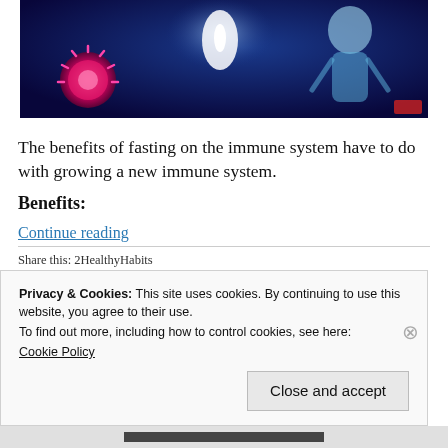[Figure (illustration): A banner image showing a blue glowing immune system / human body silhouette on the right and a pink/red virus or cell on the left, with a bright light in the center, set against a dark blue background.]
The benefits of fasting on the immune system have to do with growing a new immune system.
Benefits:
Continue reading
Share this: 2HealthyHabits
Privacy & Cookies: This site uses cookies. By continuing to use this website, you agree to their use.
To find out more, including how to control cookies, see here: Cookie Policy
Close and accept